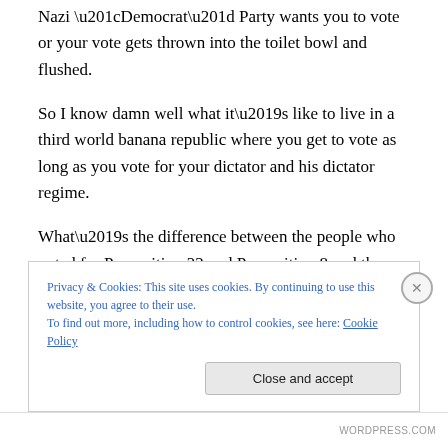Nazi “Democrat” Party wants you to vote or your vote gets thrown into the toilet bowl and flushed.
So I know damn well what it’s like to live in a third world banana republic where you get to vote as long as you vote for your dictator and his dictator regime.
What’s the difference between the people who voted for Proposition 22 and Proposition 8 and the Muslim Brotherhood?  We don’t resort to rioting in the streets and murdering women and children when we don’t get our
Privacy & Cookies: This site uses cookies. By continuing to use this website, you agree to their use.
To find out more, including how to control cookies, see here: Cookie Policy
Close and accept